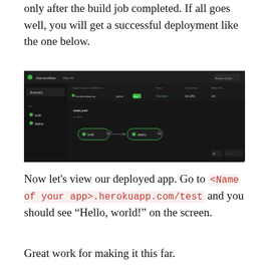only after the build job completed. If all goes well, you will get a successful deployment like the one below.
[Figure (screenshot): GitHub Actions workflow screenshot showing a successful deployment with build and deploy nodes connected in a pipeline, dark theme UI.]
Now let's view our deployed app. Go to <Name of your app>.herokuapp.com/test and you should see “Hello, world!” on the screen.
Great work for making it this far.